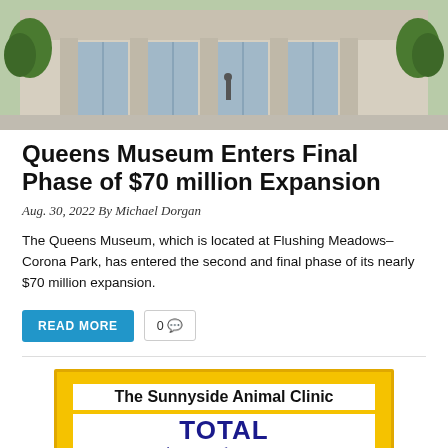[Figure (photo): Exterior of the Queens Museum building with large glass facade, columns, and trees]
Queens Museum Enters Final Phase of $70 million Expansion
Aug. 30, 2022 By Michael Dorgan
The Queens Museum, which is located at Flushing Meadows–Corona Park, has entered the second and final phase of its nearly $70 million expansion.
[Figure (infographic): Advertisement for The Sunnyside Animal Clinic with yellow border, text reading TOTAL loving care for your pet, and a stylized logo]